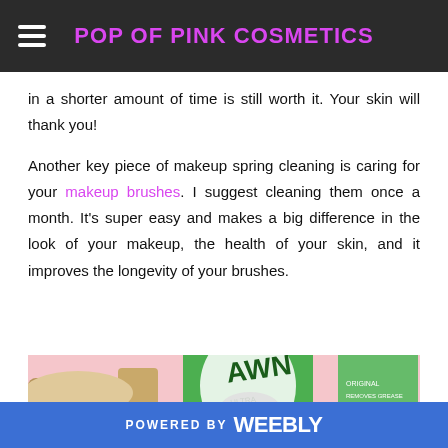POP OF PINK COSMETICS
in a shorter amount of time is still worth it. Your skin will thank you!
Another key piece of makeup spring cleaning is caring for your makeup brushes. I suggest cleaning them once a month. It’s super easy and makes a big difference in the look of your makeup, the health of your skin, and it improves the longevity of your brushes.
[Figure (photo): Photo of a green Dawn Ultra dish soap bottle on a pink background]
POWERED BY weebly